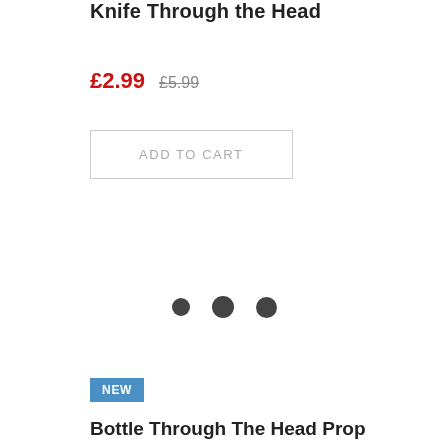Knife Through the Head
£2.99  £5.99
ADD TO CART
[Figure (other): Three dark circular dots used as a loading/carousel indicator]
NEW
Bottle Through The Head Prop